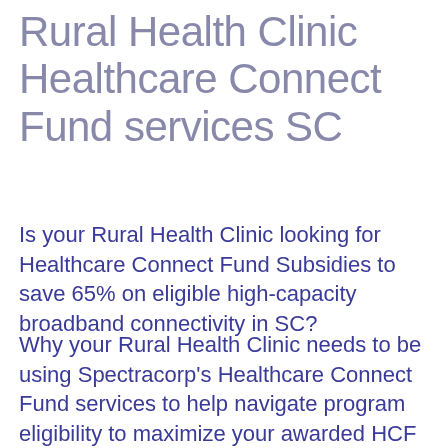Rural Health Clinic Healthcare Connect Fund services SC
Is your Rural Health Clinic looking for Healthcare Connect Fund Subsidies to save 65% on eligible high-capacity broadband connectivity in SC?
Why your Rural Health Clinic needs to be using Spectracorp's Healthcare Connect Fund services to help navigate program eligibility to maximize your awarded HCF subsidy amounts.